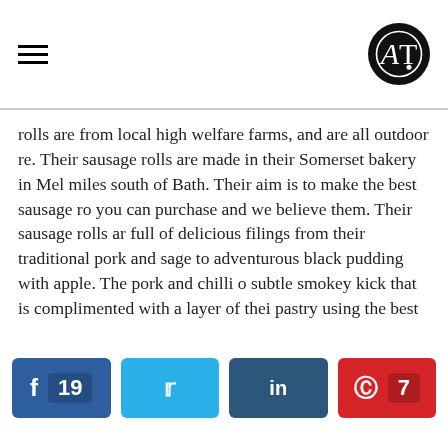AT logo and hamburger menu
rolls are from local high welfare farms, and are all outdoor re. Their sausage rolls are made in their Somerset bakery in Mel miles south of Bath. Their aim is to make the best sausage ro you can purchase and we believe them. Their sausage rolls a full of delicious filings from their traditional pork and sage to adventurous black pudding with apple. The pork and chilli o subtle smokey kick that is complimented with a layer of thei pastry using the best flour and diary from the South West. O
Where: Horniman Museum Farmers Market (Forest Hill) – S 9am-1.30pm. Locations here
2. For the Hearty Roll: Ginger Pig Ltd
[Figure (photo): Close-up photo of a sausage roll, blurred background]
Social share buttons: Facebook 19, Twitter, LinkedIn, Pinterest 7